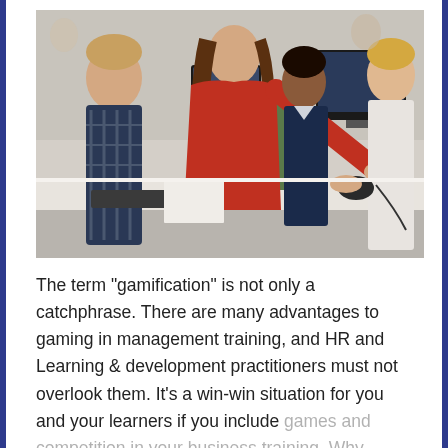[Figure (photo): Students and a teacher gathered around computers in a classroom. A young woman in a red hoodie leans over to help children working at desktop computers. Several children of different ethnicities are visible, with computer monitors and a classroom setting in the background.]
The term "gamification" is not only a catchphrase. There are many advantages to gaming in management training, and HR and Learning & development practitioners must not overlook them. It's a win-win situation for you and your learners if you include games and competition in your business training. Why would 22 individuals gather to bounce a ball onto a muddy, frigid field on a chilly wet day in February?